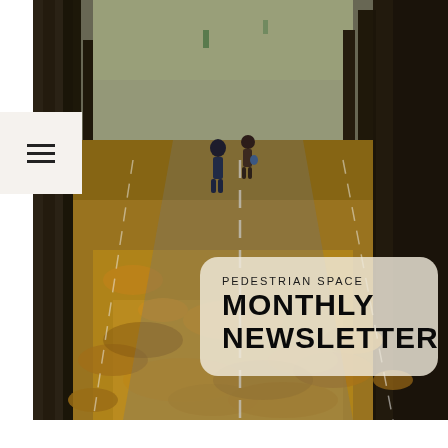[Figure (photo): Aerial perspective of a tree-lined pedestrian path covered in golden autumn leaves, with two people walking in the distance. White lane markings are visible on the path surface.]
PEDESTRIAN SPACE MONTHLY NEWSLETTER